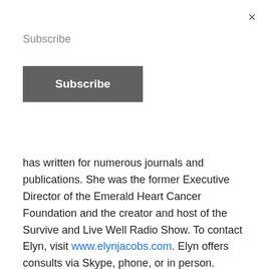×
Subscribe
Subscribe
has written for numerous journals and publications. She was the former Executive Director of the Emerald Heart Cancer Foundation and the creator and host of the Survive and Live Well Radio Show. To contact Elyn, visit www.elynjacobs.com. Elyn offers consults via Skype, phone, or in person.
This information is for educational purposes only and is not a recommendation to forgo medical advice and treatment.  This post is not intended to treat, cure, prevent, or diagnose any disease or condition. This post does not represent medical advice nor should it be considered